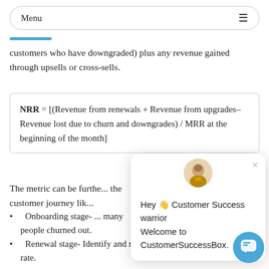Menu
customers who have downgraded) plus any revenue gained through upsells or cross-sells.
The metric can be furthe... the customer journey lik...
Onboarding stage- ... many people churned out.
Renewal stage- Identify and measure your ren... rate.
[Figure (other): Chat popup overlay with avatar (Star Trek character), close button (×), and text: Hey 👋 Customer Success warrior Welcome to CustomerSuccessBox.]
[Figure (other): Blue circular chat button in bottom-right corner with chat bubble icon.]